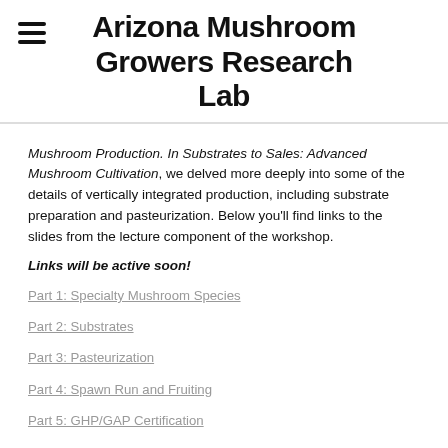Arizona Mushroom Growers Research Lab
Mushroom Production. In Substrates to Sales: Advanced Mushroom Cultivation, we delved more deeply into some of the details of vertically integrated production, including substrate preparation and pasteurization. Below you'll find links to the slides from the lecture component of the workshop.
Links will be active soon!
Part 1: Specialty Mushroom Species
Part 2: Substrates
Part 3: Pasteurization
Part 4: Spawn Run and Fruiting
Part 5: GHP/GAP Certification